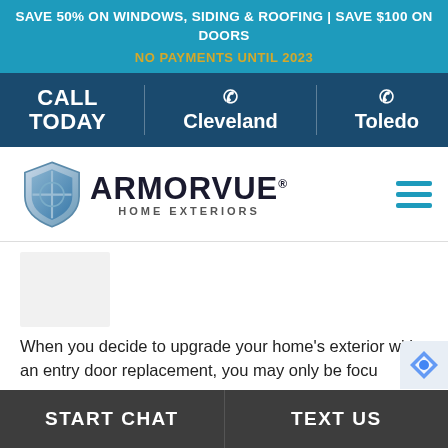SAVE 50% ON WINDOWS, SIDING & ROOFING | SAVE $100 ON DOORS
NO PAYMENTS UNTIL 2023
CALL TODAY | Cleveland | Toledo
[Figure (logo): Armorvue Home Exteriors logo with shield icon and hamburger menu]
[Figure (photo): Partially visible faded home exterior image]
When you decide to upgrade your home's exterior with an entry door replacement, you may only be focu...
START CHAT | TEXT US